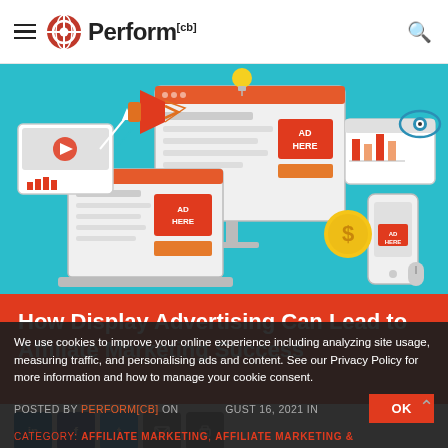Perform[cb]
[Figure (illustration): Digital advertising illustration showing desktop monitor, laptop, and mobile phone with 'AD HERE' banners, bar charts, megaphone, lightbulb, eye icon, and dollar coin on a teal background]
How Display Advertising Can Lead to Affiliate Marketing Success
[Figure (other): Social sharing buttons row: LinkedIn, Facebook, Twitter, Email, Print]
We use cookies to improve your online experience including analyzing site usage, measuring traffic, and personalising ads and content. See our Privacy Policy for more information and how to manage your cookie consent.
POSTED BY PERFORM[CB] ON AUGUST 16, 2021 IN CATEGORY: AFFILIATE MARKETING, AFFILIATE MARKETING &